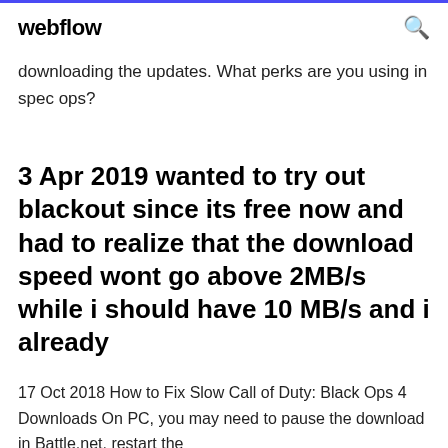webflow [search icon]
downloading the updates. What perks are you using in spec ops?
3 Apr 2019 wanted to try out blackout since its free now and had to realize that the download speed wont go above 2MB/s while i should have 10 MB/s and i already
17 Oct 2018 How to Fix Slow Call of Duty: Black Ops 4 Downloads On PC, you may need to pause the download in Battle.net, restart the